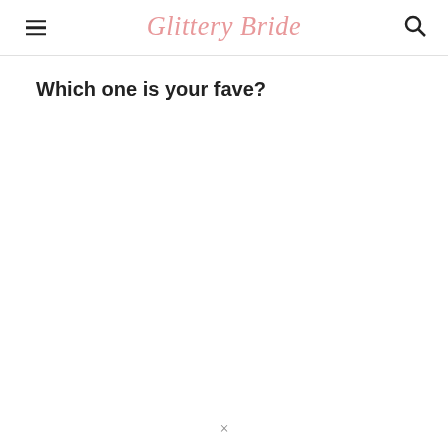Glittery Bride
Which one is your fave?
×